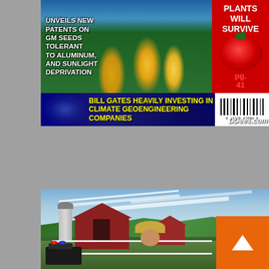[Figure (illustration): Magazine cover or infographic composite image. Top-left section shows corn/GM crops with white text overlay reading 'UNVEILS NEW PATENTS ON GM SEEDS TOLERANT TO ALUMINUM, AND SUNLIGHT DEPRIVATION'. Top-right red panel shows a tomato with a syringe and white text 'PLANTS WILL SURVIVE' with red text 'pg. 41'. Bottom banner on dark blue background shows yellow text 'BILL GATES HEAVILY INVESTING IN CLIMATE GEOENGINEERING COMPANIES' with barcode and 'DDees.com' watermark.]
[Figure (photo): Rural farm scene with red barn, silo, white fences, green hills, blue sky with chemtrail lines. In foreground: police car with lights, a farmer in straw hat, and people in tactical gear/helmets. Orange scroll-to-top button in bottom-right corner.]